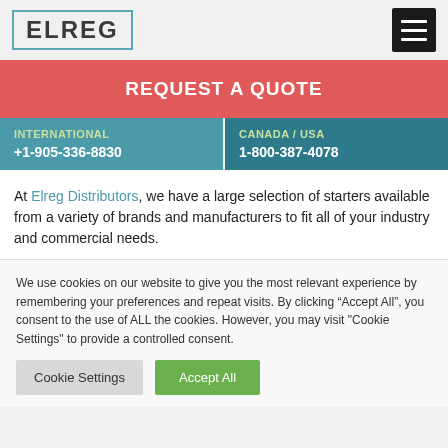ELREG
REQUEST A QUOTE
INTERNATIONAL +1-905-336-8830
CANADA / USA 1-800-387-4078
At Elreg Distributors, we have a large selection of starters available from a variety of brands and manufacturers to fit all of your industry and commercial needs.
We use cookies on our website to give you the most relevant experience by remembering your preferences and repeat visits. By clicking “Accept All”, you consent to the use of ALL the cookies. However, you may visit "Cookie Settings" to provide a controlled consent.
Cookie Settings   Accept All